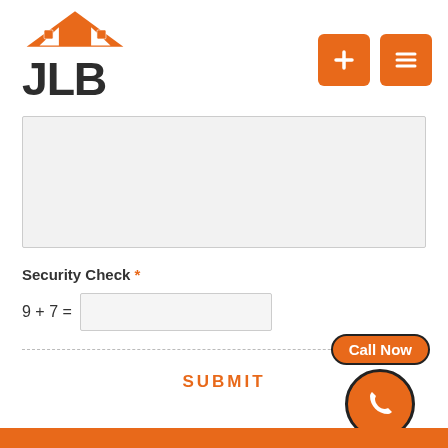[Figure (logo): JLB logo with house/roof icon in orange and dark brown/black text]
[Figure (other): Two orange square buttons with plus and list icons in the header navigation]
[Figure (other): Gray textarea input field (empty)]
Security Check *
SUBMIT
[Figure (other): Call Now button with orange rounded badge label and orange circle with phone icon]